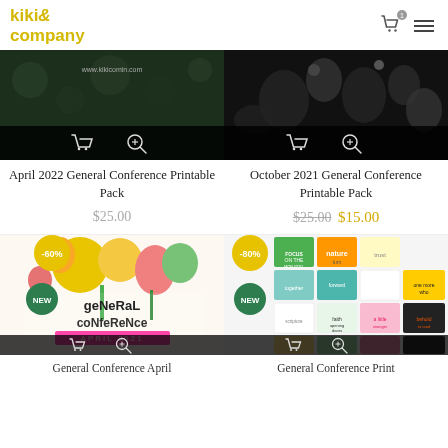kiki& company
[Figure (screenshot): Product image for April 2022 General Conference Printable Pack with dark background and website URL www.kikicomin.com, with cart and zoom icons overlay]
[Figure (screenshot): Product image for October 2021 General Conference Printable Pack with dark floral background, with cart and zoom icons overlay]
April 2022 General Conference Printable Pack
October 2021 General Conference Printable Pack
$25.00
$25.00 $15.00
[Figure (screenshot): Product image for General Conference April 2021 printable pack with colorful floral design, -60% badge, NEW badge, cart and zoom icons overlay]
[Figure (screenshot): Product image for General Conference Print pack with colorful cards grid, -80% badge, NEW badge, cart and zoom icons overlay]
General Conference April
General Conference Print